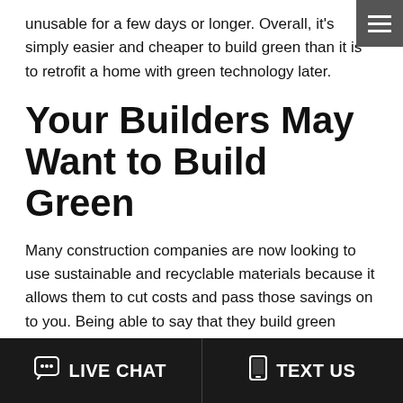unusable for a few days or longer. Overall, it's simply easier and cheaper to build green than it is to retrofit a home with green technology later.
Your Builders May Want to Build Green
Many construction companies are now looking to use sustainable and recyclable materials because it allows them to cut costs and pass those savings on to you. Being able to say that they build green homes and can offer substantial savings to homebuilders can be an advantage in today's competitive environment. You may find that a number of the builders you're considering are already planning on making use of a number of eco-friendly options
LIVE CHAT   TEXT US